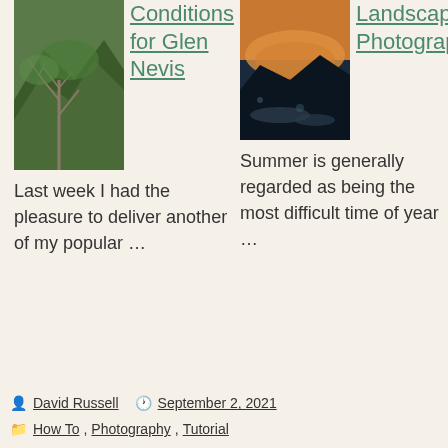[Figure (photo): Green mountainous landscape with a bare tree in the foreground (Glen Nevis)]
Conditions for Glen Nevis
Last week I had the pleasure to deliver another of my popular …
[Figure (photo): Aerial landscape photo with dramatic sky and water below (Landscape Photography)]
Landscape Photography
Summer is generally regarded as being the most difficult time of year …
By David Russell  September 2, 2021  How To, Photography, Tutorial